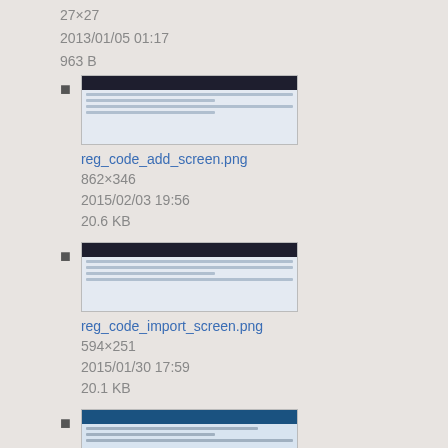27×27
2013/01/05 01:17
963 B
reg_code_add_screen.png
862×346
2015/02/03 19:56
20.6 KB
reg_code_import_screen.png
594×251
2015/01/30 17:59
20.1 KB
reg_code_search.jpg
544×184
2016/01/22 21:08
34 KB